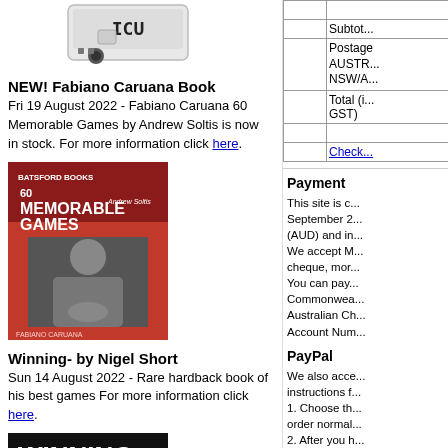[Figure (photo): Chess clock device image at top left]
NEW! Fabiano Caruana Book
Fri 19 August 2022 - Fabiano Caruana 60 Memorable Games by Andrew Soltis is now in stock. For more information click here.
[Figure (photo): Book cover: 60 Memorable Games by Andrew Soltis - red cover with photo of Fabiano Caruana]
Winning- by Nigel Short
Sun 14 August 2022 - Rare hardback book of his best games For more information click here.
[Figure (photo): Book cover: Winning by Nigel Short - red and black cover]
|  |  |
| --- | --- |
|  |  |
|  | Subtot... |
|  | Postage AUSTR... NSW/A... |
|  | Total (incl. GST) |
|  |  |
|  | Check... |
Payment
This site is c... September 2... (AUD) and in... We accept M... cheque, mor... You can pay... Commonwea... Australian Ch... Account Num...
PayPal
We also acce... instructions f... 1. Choose th... order normal... 2. After you h...